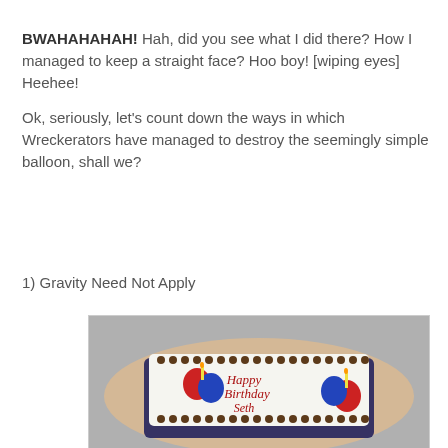BWAHAHAHAH! Hah, did you see what I did there? How I managed to keep a straight face? Hoo boy! [wiping eyes] Heehee!
Ok, seriously, let's count down the ways in which Wreckerators have managed to destroy the seemingly simple balloon, shall we?
1) Gravity Need Not Apply
[Figure (photo): A rectangular birthday cake on a tan plate, with chocolate border decorations, red and blue frosting balloon-like decorations with yellow candles, and red cursive text reading 'Happy Birthday Seth']